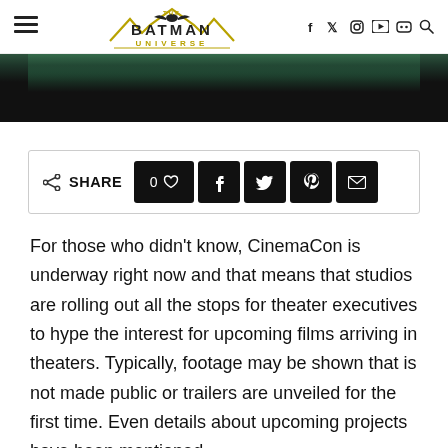The Batman Universe — navigation header with hamburger menu, logo, and social icons (f, twitter, instagram, youtube, discord, search)
[Figure (photo): Dark green and black hero image strip showing a partially visible cinematic scene]
SHARE — social share bar with like count 0, facebook, twitter, pinterest, and email buttons
For those who didn't know, CinemaCon is underway right now and that means that studios are rolling out all the stops for theater executives to hype the interest for upcoming films arriving in theaters. Typically, footage may be shown that is not made public or trailers are unveiled for the first time. Even details about upcoming projects have been mentioned